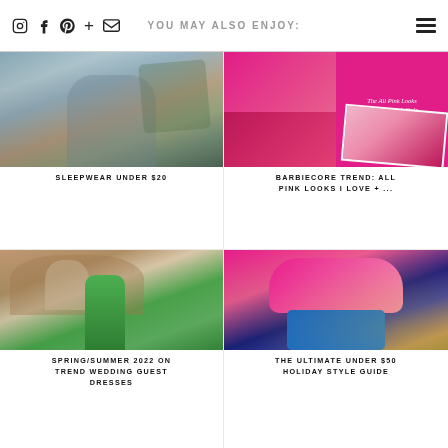YOU MAY ALSO ENJOY:
[Figure (photo): Woman wearing blue/grey sleepwear set indoors with plants in background]
SLEEPWEAR UNDER $20
[Figure (photo): Collage of all pink outfits and celeb style inspiration for Barbiecore trend]
BARBIECORE TREND: ALL PINK LOOKS I LOVE + ...
[Figure (photo): Woman in green dress in front of ancient Roman architecture]
SPRING/SUMMER 2022 ON TREND WEDDING GUEST DRESSES
[Figure (photo): Woman in pink sweater and jeans sitting cross-legged outdoors in autumn]
THE ULTIMATE UNDER $50 HOLIDAY STYLE GUIDE